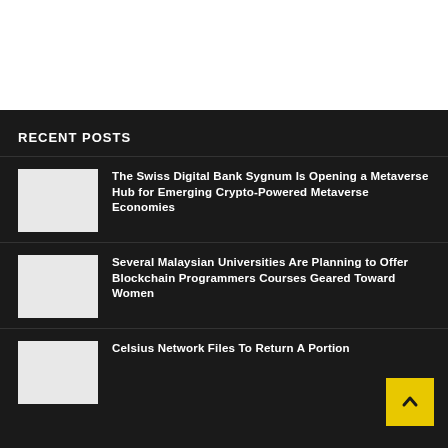RECENT POSTS
The Swiss Digital Bank Sygnum Is Opening a Metaverse Hub for Emerging Crypto-Powered Metaverse Economies
Several Malaysian Universities Are Planning to Offer Blockchain Programmers Courses Geared Toward Women
Celsius Network Files To Return A Portion